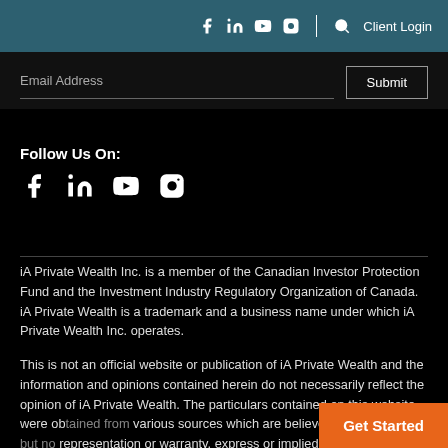f in ▶ 📷 | 🔍 Client Login
Email Address  Submit
Follow Us On:
[Figure (other): Social media icons: Facebook, LinkedIn, YouTube, Instagram]
iA Private Wealth Inc. is a member of the Canadian Investor Protection Fund and the Investment Industry Regulatory Organization of Canada. iA Private Wealth is a trademark and a business name under which iA Private Wealth Inc. operates.
This is not an official website or publication of iA Private Wealth and the information and opinions contained herein do not necessarily reflect the opinion of iA Private Wealth. The particulars contained on this website were obtained from various sources which are believed to be reliable, but no representation or warranty, express or implied, is made by iA
Get Started